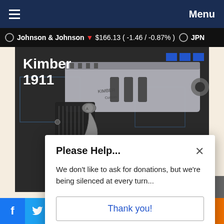Menu
Johnson & Johnson ▼ $166.13 ( -1.46 / -0.87% ) JPN
[Figure (photo): Close-up photograph of a Kimber 1911 pistol on a dark background with blueprint-style geometric markings. White text overlay reads 'Kimber 1911' in bold.]
Please Help...
We don't like to ask for donations, but we're being silenced at every turn...
Thank you!